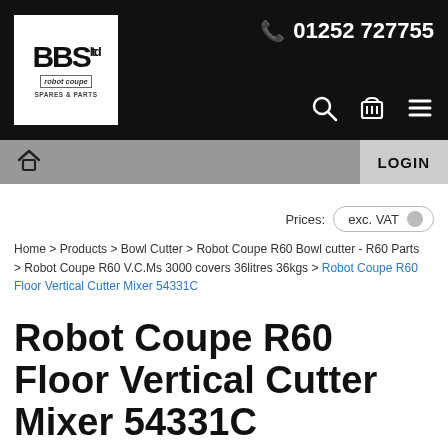BBS Ltd — robot coupe SPARES & PARTS | 01252 727755
Prices: exc. VAT
Home > Products > Bowl Cutter > Robot Coupe R60 Bowl cutter - R60 Parts > Robot Coupe R60 V.C.Ms 3000 covers 36litres 36kgs > Robot Coupe R60 Floor Vertical Cutter Mixer 54331C
Robot Coupe R60 Floor Vertical Cutter Mixer 54331C